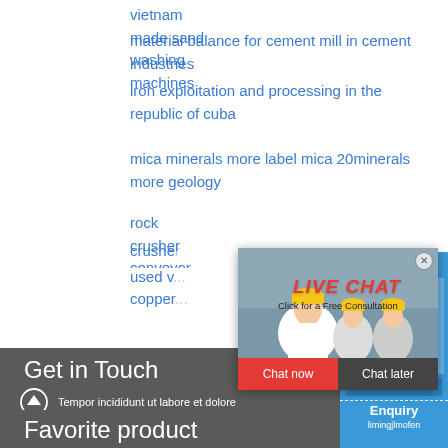vietnam made sand washing machines
material balance for cement mill in cement industries
iron exploitation and processing in the republic of cuba
mica minerals more label mica 20minerals more geology
rock crusher conveyor belts
crusher machine (partially obscured)
used v... (partially obscured)
copper... (partially obscured)
[Figure (screenshot): Live chat popup with workers wearing yellow hard hats, LIVE CHAT text in red italic, 'Click for a Free Consultation' subtitle, Chat now (red button) and Chat later (dark button)]
[Figure (screenshot): Right blue sidebar showing 'hour online' text, industrial crusher machine image, 'Click me to chat>>' button, Enquiry section, limingjlmofen text]
Get in Touch
Tempor incididunt ut labore et dolore
limingjlmofen@sina.com
Favorite product